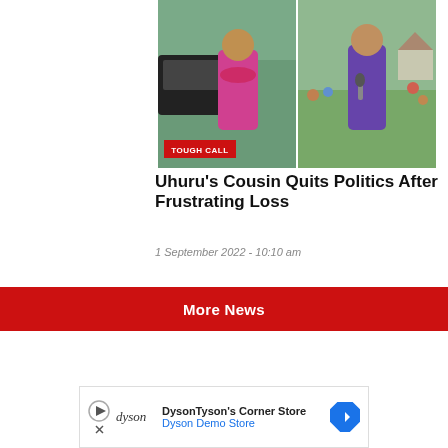[Figure (photo): Two women in a split image: left woman in pink outfit near a vehicle, right woman in purple speaking into a microphone outdoors with crowd in background]
Uhuru's Cousin Quits Politics After Frustrating Loss
1 September 2022 - 10:10 am
More News
[Figure (other): Advertisement: DysonTyson's Corner Store - Dyson Demo Store]